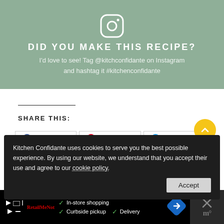[Figure (illustration): Instagram-themed promotional banner with sage green background, Instagram camera icon at top, bold white uppercase text 'DID YOU MAKE THIS RECIPE?' and subtitle text 'I'd love to see! Tag @kitchconfidante on Instagram and hashtag it #kitchenconfidante']
SHARE THIS:
[Figure (screenshot): Share buttons row: Facebook, Pinterest, Twitter sharing buttons and Yummly, Email buttons below]
[Figure (screenshot): Cookie consent banner: dark background overlay. Text: 'Kitchen Confidante uses cookies to serve you the best possible experience. By using our website, we understand that you accept their use and agree to our cookie policy.' with Accept button]
‹ previous post
next post ›
[Figure (screenshot): Advertisement bar at bottom: black background with play/skip icons, brand logo, checkmarks listing 'In-store shopping', 'Curbside pickup', 'Delivery', navigation arrow icon, and close X button area on right]